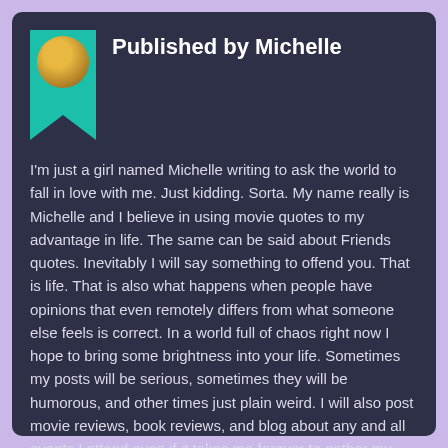[Figure (photo): Circular avatar photo of Michelle with a teal bookmark ribbon shape behind it]
Published by Michelle
I'm just a girl named Michelle writing to ask the world to fall in love with me. Just kidding. Sorta. My name really is Michelle and I believe in using movie quotes to my advantage in life. The same can be said about Friends quotes. Inevitably I will say something to offend you. That is life. That is also what happens when people have opinions that even remotely differs from what someone else feels is correct. In a world full of chaos right now I hope to bring some brightness into your life. Sometimes my posts will be serious, sometimes they will be humorous, and other times just plain weird. I will also post movie reviews, book reviews, and blog about any and all events I attend even if it takes me forever to gather my thoughts on some of them.